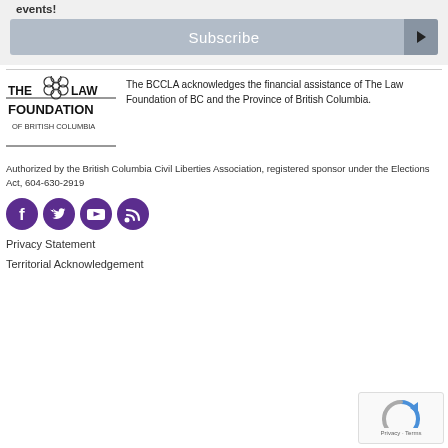events!
Subscribe
[Figure (logo): The Law Foundation of British Columbia logo]
The BCCLA acknowledges the financial assistance of The Law Foundation of BC and the Province of British Columbia.
Authorized by the British Columbia Civil Liberties Association, registered sponsor under the Elections Act, 604-630-2919
[Figure (infographic): Social media icons: Facebook, Twitter, YouTube, RSS feed — purple circles]
Privacy Statement
Territorial Acknowledgement
[Figure (other): reCAPTCHA widget with Privacy and Terms links]